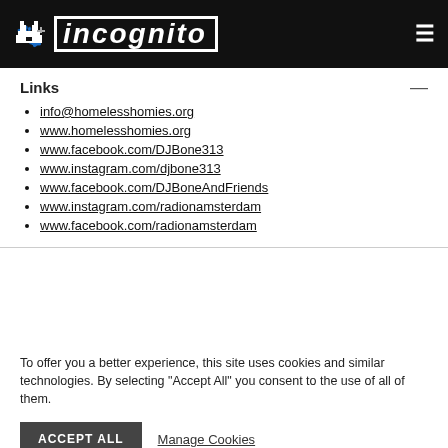incognito
Links
info@homelesshomies.org
www.homelesshomies.org
www.facebook.com/DJBone313
www.instagram.com/djbone313
www.facebook.com/DJBoneAndFriends
www.instagram.com/radionamsterdam
www.facebook.com/radionamsterdam
To offer you a better experience, this site uses cookies and similar technologies. By selecting "Accept All" you consent to the use of all of them.
ACCEPT ALL   Manage Cookies